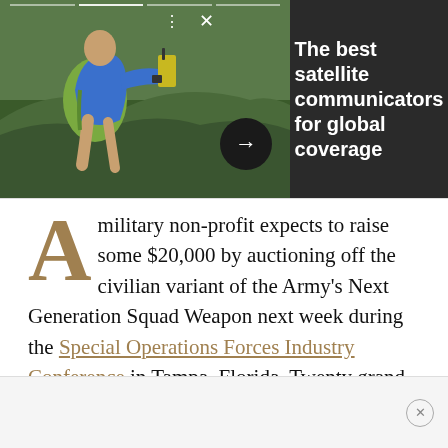[Figure (photo): Person with green backpack sitting on a rock holding a handheld GPS/satellite communicator device, with forested hillside in background. Part of an advertisement for satellite communicators.]
The best satellite communicators for global coverage
A military non-profit expects to raise some $20,000 by auctioning off the civilian variant of the Army's Next Generation Squad Weapon next week during the Special Operations Forces Industry Conference in Tampa, Florida. Twenty grand may sound like a lot — especially considering the retail price is listed at $7,999 — but that's not an unheard-of